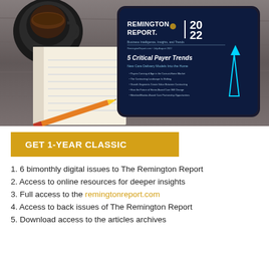[Figure (photo): Photo of a tablet displaying the Remington Report 2022 cover with '5 Critical Payer Trends' headline, next to a coffee cup and notebook with pencil on a wooden surface.]
GET 1-YEAR CLASSIC
1. 6 bimonthly digital issues to The Remington Report
2. Access to online resources for deeper insights
3. Full access to the remingtonreport.com
4. Access to back issues of The Remington Report
5. Download access to the articles archives